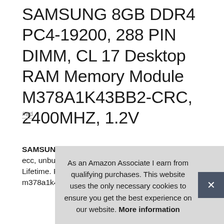SAMSUNG 8GB DDR4 PC4-19200, 288 PIN DIMM, CL 17 Desktop RAM Memory Module M378A1K43BB2-CRC, 2400MHZ, 1.2V
#ad
SAMSUNG #ad - Specs ddr4 pc4-19200, cl=17, non-ecc, unbuffered, ddr4-2400, 1.2v. Warranty Limited Lifetime. Form factor dimm 288 pin p/n m378a1k43BB2-CRC. Total capacity 8GB
As an Amazon Associate I earn from qualifying purchases. This website uses the only necessary cookies to ensure you get the best experience on our website. More information